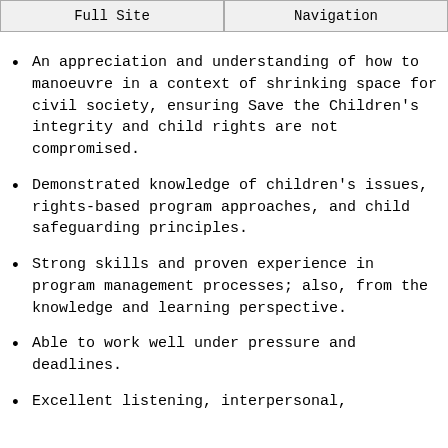Full Site | Navigation
An appreciation and understanding of how to manoeuvre in a context of shrinking space for civil society, ensuring Save the Children's integrity and child rights are not compromised.
Demonstrated knowledge of children's issues, rights-based program approaches, and child safeguarding principles.
Strong skills and proven experience in program management processes; also, from the knowledge and learning perspective.
Able to work well under pressure and deadlines.
Excellent listening, interpersonal,